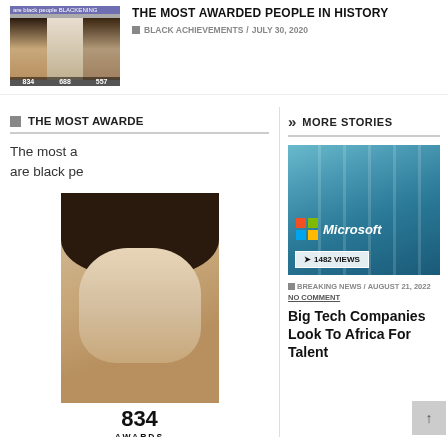[Figure (photo): Thumbnail of article about most awarded people in history showing three faces with numbers 834, 688, 557]
THE MOST AWARDED PEOPLE IN HISTORY
BLACK ACHIEVEMENTS / JULY 30, 2020
THE MOST AWARDED
MORE STORIES
The most a... are black pe...
[Figure (photo): Photo of Michael Jackson with 834 AWARDS label]
[Figure (photo): Microsoft building with logo and 1482 VIEWS badge]
BREAKING NEWS / AUGUST 21, 2022 NO COMMENT
Big Tech Companies Look To Africa For Talent